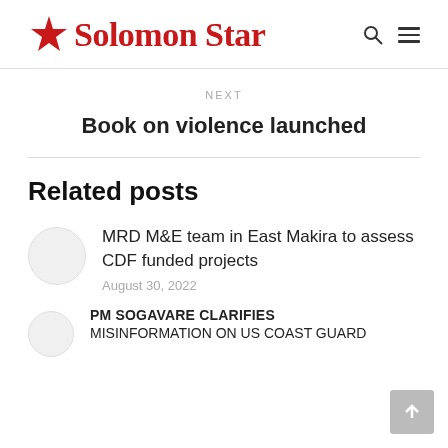Solomon Star
NEXT
Book on violence launched
Related posts
MRD M&E team in East Makira to assess CDF funded projects
August 30, 2022
PM SOGAVARE CLARIFIES
MISINFORMATION ON US COAST GUARD